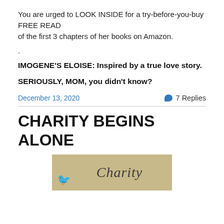You are urged to LOOK INSIDE for a try-before-you-buy FREE READ of the first 3 chapters of her books on Amazon.
.
IMOGENE'S ELOISE: Inspired by a true love story.
SERIOUSLY, MOM, you didn't know?
December 13, 2020
7 Replies
CHARITY BEGINS ALONE
[Figure (photo): Book cover image showing handwritten text 'Charity' on a tan/beige background with a decorative bird element]